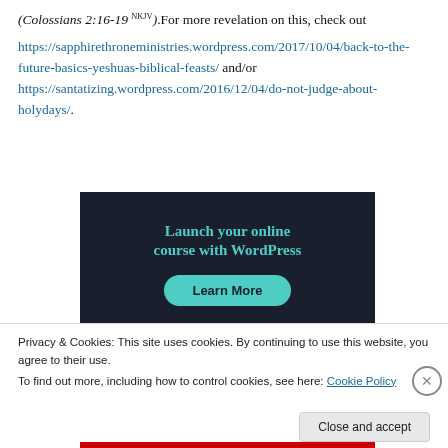(Colossians 2:16-19 NKJV). For more revelation on this, check out https://sapphirethroneministries.wordpress.com/2017/10/04/back-to-the-future-basics-yeshuas-biblical-feasts/ and/or https://santatizing.wordpress.com/2016/12/04/do-not-judge-about-holydays/.
[Figure (screenshot): WordPress advertisement banner with dark background, teal text reading 'Launch your online course with WordPress' and a teal 'Learn More' button.]
Privacy & Cookies: This site uses cookies. By continuing to use this website, you agree to their use. To find out more, including how to control cookies, see here: Cookie Policy